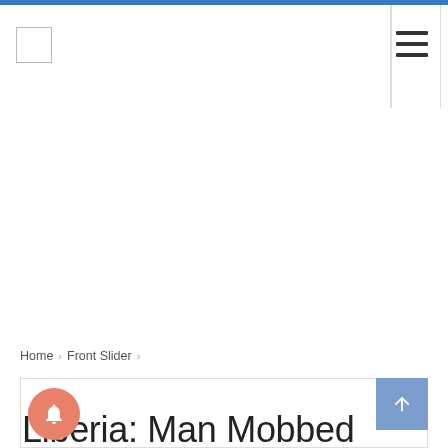Home › Front Slider ›
Liberia: Man Mobbed